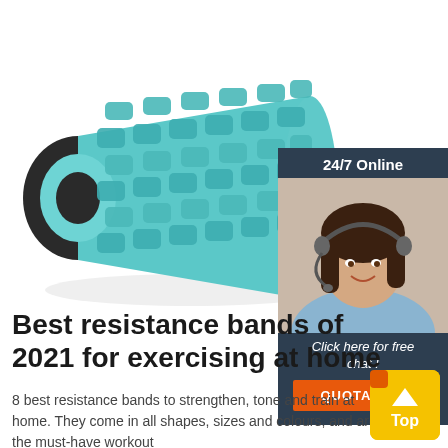[Figure (photo): Teal/blue foam roller with textured bumps on white background]
[Figure (infographic): 24/7 Online chat widget with woman wearing headset, dark navy background, orange QUOTATION button and italic text 'Click here for free chat!']
Best resistance bands of 2021 for exercising at home
8 best resistance bands to strengthen, tone and train at home. They come in all shapes, sizes and colours, and are the must-have workout
[Figure (other): Yellow square 'Top' button with arrow indicator]